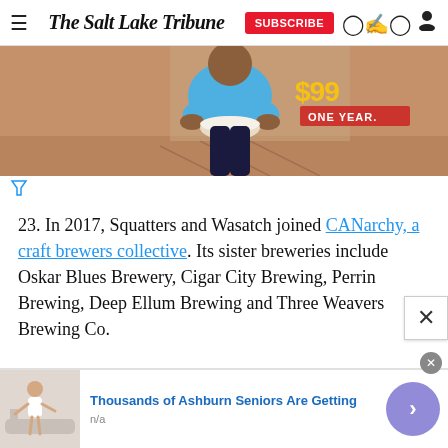The Salt Lake Tribune
[Figure (photo): Advertisement image showing a child in a blue shirt holding a bowl, seated outdoors on a brick/tile surface. Red 'ONE YEAR.' text visible on right side of image.]
23. In 2017, Squatters and Wasatch joined CANarchy, a craft brewers collective. Its sister breweries include Oskar Blues Brewery, Cigar City Brewing, Perrin Brewing, Deep Ellum Brewing and Three Weavers Brewing Co.
[Figure (photo): Bottom advertisement banner showing an image of a person near a bathtub/walk-in tub, with headline 'Thousands of Ashburn Seniors Are Getting' and subtext 'n/a'. A purple circle with a right arrow is on the right side.]